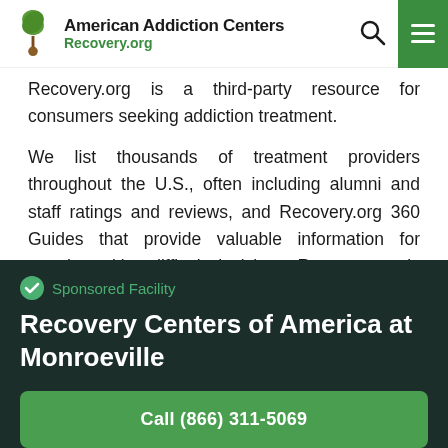American Addiction Centers Recovery.org
Recovery.org is a third-party resource for consumers seeking addiction treatment.
We list thousands of treatment providers throughout the U.S., often including alumni and staff ratings and reviews, and Recovery.org 360 Guides that provide valuable information for people making difficult decisions. Recovery.org is not influenced in regards to its ratings or reviews by any treatment center or its sponsors, and we
Sponsored Facility
Recovery Centers of America at Monroeville
Call (866) 311-5069